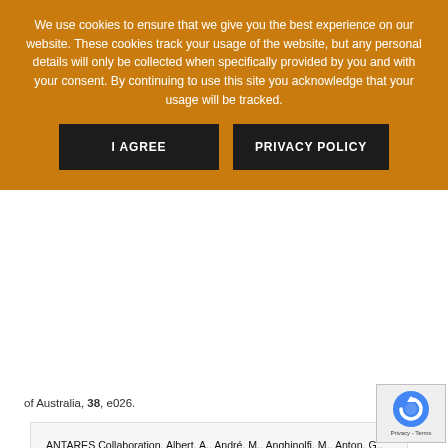We use cookies to ensure that we give you the best experience on our website. These cookies track your usage of the website, but any personal details will only be collected when specifically provided by you and with your consent. By continuing to use this site you acknowledge that your usage will be tracked.
I AGREE | PRIVACY POLICY
of Australia, 38, e026.
ANTARES Collaboration, Albert, A., André, M., Anghinolfi, M., Anton, G., Ardid, M., Aubert, J.-J., Aublin, J., Baret, B., Basa, S., Belhorma, B., Bertin, V., Biagi, S., Bissinger, M., Boumaaza, J., Bouta, M., Bouwhuis, M. C., Brânzas, H., Bruijn, R., Brunner, J., Busto, J., Capone, A., Caramete, L., Carr, J., Carretero, V., Celli, S., Chabab, M., Chau, T. N., Cherkaoui El Moursli, R., Chiarusi, T., Circella, M., Coleiro, A., Colomer-Molla, M., Coniglione, R., Coyle, P., Creusot, A., Díaz, A. F., de Wasseige, G., Deschamps, A., Distefano, C., di Palma, I., Domi, A., Donzaud, C., Dornic, D., Drouhin, D., Eberl, T., El Khayati, N., Enzenhöfer, A., Ettahiri, A., Farmani, B., Ferrara... and 88 colleagues (2021). ANTARES upper...